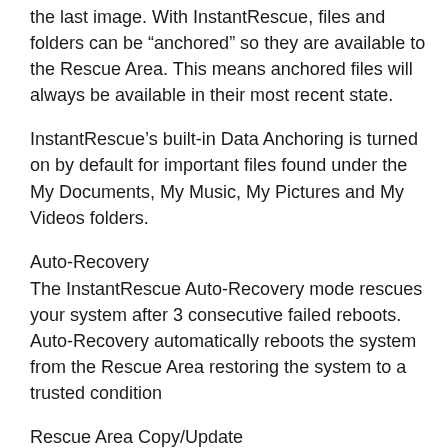the last image. With InstantRescue, files and folders can be “anchored” so they are available to the Rescue Area. This means anchored files will always be available in their most recent state.
InstantRescue’s built-in Data Anchoring is turned on by default for important files found under the My Documents, My Music, My Pictures and My Videos folders.
Auto-Recovery
The InstantRescue Auto-Recovery mode rescues your system after 3 consecutive failed reboots. Auto-Recovery automatically reboots the system from the Rescue Area restoring the system to a trusted condition
Rescue Area Copy/Update
InstantRescue supports Rescue Area copy/update to keep the Rescue Area current.